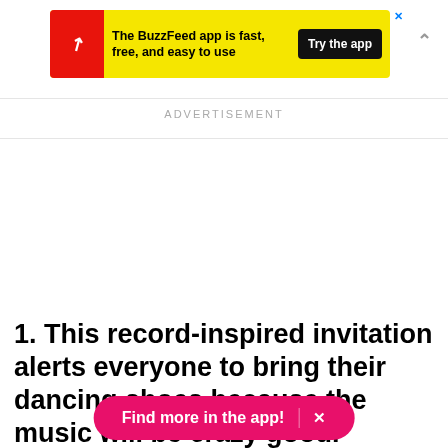[Figure (screenshot): BuzzFeed app advertisement banner with yellow background, red circle icon with white trending arrow, black 'Try the app' button, and close X button]
ADVERTISEMENT
1. This record-inspired invitation alerts everyone to bring their dancing shoes because the music will be crazy good.
Find more in the app! ×